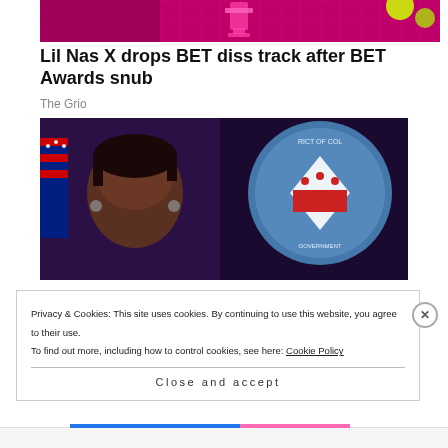[Figure (photo): Top banner image with pink/magenta background and award trophy silhouette, yellow-green circles on right]
Lil Nas X drops BET diss track after BET Awards snub
The Grio
[Figure (photo): Woman speaking at podium in front of District of Columbia government seal and US flag]
Privacy & Cookies: This site uses cookies. By continuing to use this website, you agree to their use.
To find out more, including how to control cookies, see here: Cookie Policy
Close and accept